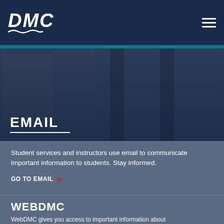DMC
[Figure (photo): Building exterior with brick walls and pillars, dark overlay, with EMAIL title overlay]
EMAIL
Student services and instructors use email to communicate important information to students. Stay informed.
GO TO EMAIL ▶
WEBDMC
WebDMC gives you access to important information about...